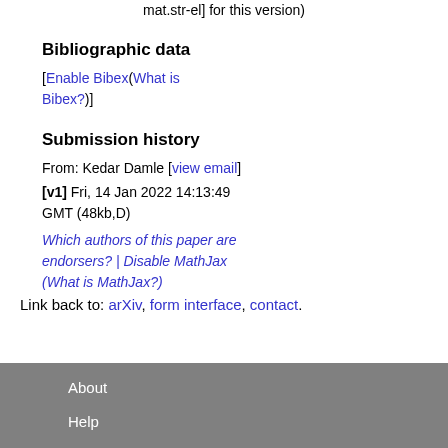mat.str-el] for this version)
Bibliographic data
[Enable Bibex(What is Bibex?)]
Submission history
From: Kedar Damle [view email]
[v1] Fri, 14 Jan 2022 14:13:49 GMT (48kb,D)
Which authors of this paper are endorsers? | Disable MathJax (What is MathJax?)
Link back to: arXiv, form interface, contact.
About
Help